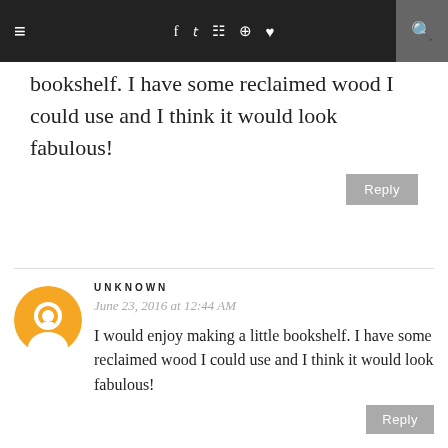≡  f  𝕋  📷  𝗣  ♥  🔍
bookshelf. I have some reclaimed wood I could use and I think it would look fabulous!
Reply
UNKNOWN
June 23, 2016 at 12:44 AM
I would enjoy making a little bookshelf. I have some reclaimed wood I could use and I think it would look fabulous!
Reply